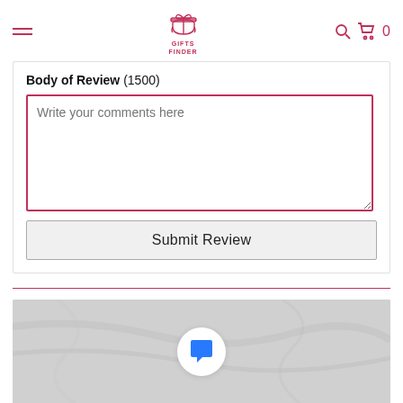GIFTS FINDER — navigation header with hamburger menu, logo, search icon, cart icon with 0
Body of Review (1500)
Write your comments here
Submit Review
[Figure (screenshot): Bottom section with a horizontal pink divider line and a gray marble-textured image area containing a white circle with a blue chat bubble icon in the center]